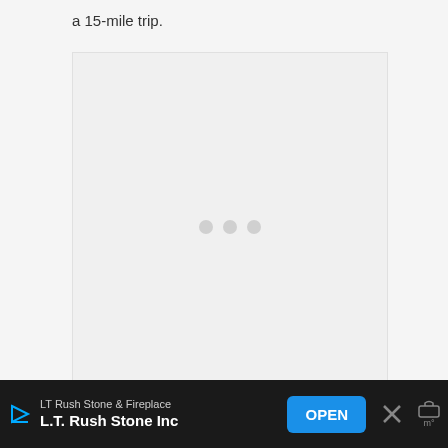a 15-mile trip.
[Figure (other): Loading placeholder with three grey dots centered in a light grey box]
However, there are several other routes
[Figure (other): Advertisement banner: LT Rush Stone & Fireplace / L.T. Rush Stone Inc with OPEN button and close X button]